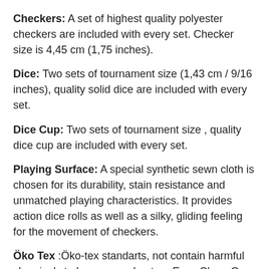Checkers: A set of highest quality polyester checkers are included with every set. Checker size is 4,45 cm (1,75 inches).
Dice: Two sets of tournament size (1,43 cm / 9/16 inches), quality solid dice are included with every set.
Dice Cup: Two sets of tournament size , quality dice cup are included with every set.
Playing Surface: A special synthetic sewn cloth is chosen for its durability, stain resistance and unmatched playing characteristics. It provides action dice rolls as well as a silky, gliding feeling for the movement of checkers.
Öko Tex :Öko-tex standarts, not contain harmful chemicals to humans and nature Easy Clean On the surface of fabrics, tea, coffee stains can easily cleaned. 5 Year Warranty Spillage, peeling, color fastness, light fastness, abrasion against the problem of under 5 years Assurance. High Strength 75.000 Martin Dale on the strength and high resistance against abrasion and provide long-term durability. Silky touch With its unique texture provides a soft and silky comfort. Antibacterial